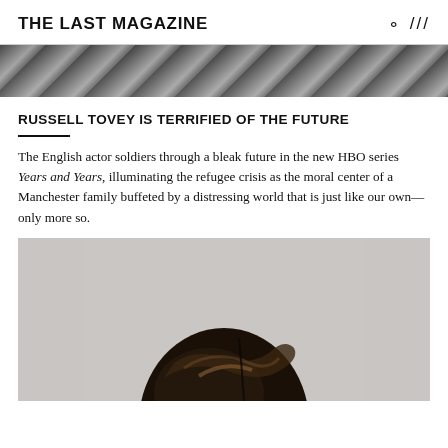THE LAST MAGAZINE
[Figure (photo): Top partial photo, black and white, showing a textured knitted or fabric surface]
RUSSELL TOVEY IS TERRIFIED OF THE FUTURE
The English actor soldiers through a bleak future in the new HBO series Years and Years, illuminating the refugee crisis as the moral center of a Manchester family buffeted by a distressing world that is just like our own—only more so.
[Figure (photo): Portrait photo of a person with dark hair styled back, shot from slightly above, light grey background, showing head and top of shoulders]